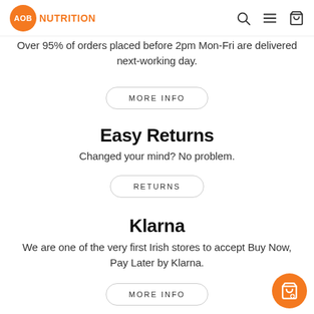AOB NUTRITION
Over 95% of orders placed before 2pm Mon-Fri are delivered next-working day.
MORE INFO
Easy Returns
Changed your mind? No problem.
RETURNS
Klarna
We are one of the very first Irish stores to accept Buy Now, Pay Later by Klarna.
MORE INFO